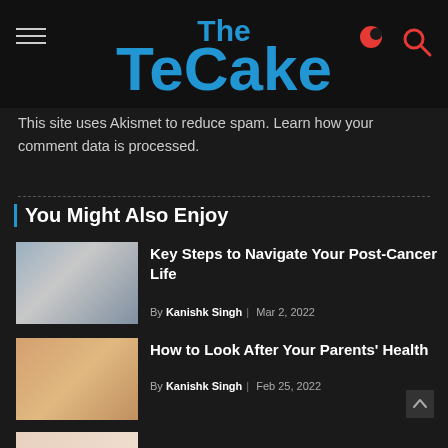The TeCake
This site uses Akismet to reduce spam. Learn how your comment data is processed.
You Might Also Enjoy
[Figure (photo): Older woman with short grey hair looking pensive near a window]
Key Steps to Navigate Your Post-Cancer Life
By Kanishk Singh | Mar 2, 2022
[Figure (photo): Multiple hands joined together, intergenerational or caregiving theme]
How to Look After Your Parents' Health
By Kanishk Singh | Feb 25, 2022
[Figure (photo): Partial image of a third article, cut off at bottom of page]